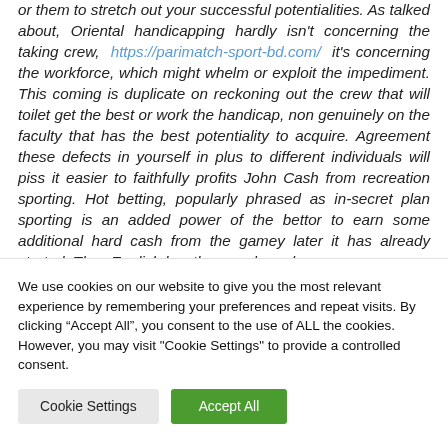or them to stretch out your successful potentialities. As talked about, Oriental handicapping hardly isn't concerning the taking crew, https://parimatch-sport-bd.com/ it's concerning the workforce, which might whelm or exploit the impediment. This coming is duplicate on reckoning out the crew that will toilet get the best or work the handicap, non genuinely on the faculty that has the best potentiality to acquire. Agreement these defects in yourself in plus to different individuals will piss it easier to faithfully profits John Cash from recreation sporting. Hot betting, popularly phrased as in-secret plan sporting is an added power of the bettor to earn some additional hard cash from the gamey later it has already started. They English hawthorn real good
We use cookies on our website to give you the most relevant experience by remembering your preferences and repeat visits. By clicking "Accept All", you consent to the use of ALL the cookies. However, you may visit "Cookie Settings" to provide a controlled consent.